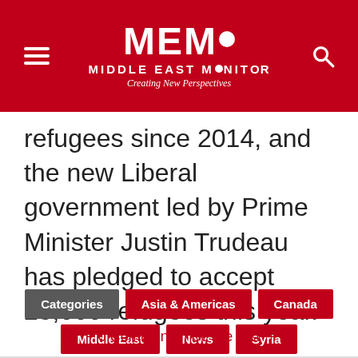[Figure (logo): MEMO Middle East Monitor logo with red background, hamburger menu icon on left, search icon on right, tagline 'Creating New Perspectives']
refugees since 2014, and the new Liberal government led by Prime Minister Justin Trudeau has pledged to accept 25,000 refugees this year.
Categories  Asia & Americas  Canada  Middle East  News  Syria  Videos & Photo Stories
0 Comments | Be the first